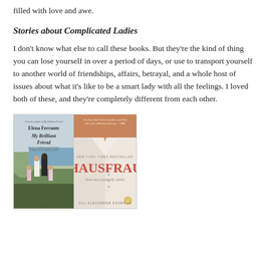filled with love and awe.
Stories about Complicated Ladies
I don't know what else to call these books. But they're the kind of thing you can lose yourself in over a period of days, or use to transport yourself to another world of friendships, affairs, betrayal, and a whole host of issues about what it's like to be a smart lady with all the feelings. I loved both of these, and they're completely different from each other.
[Figure (photo): Two book covers side by side: 'My Brilliant Friend' by Elena Ferrante on the left showing a family walking on a beach, and 'Hausfrau' by Jill Alexander Essbaum on the right showing a woman in a white shirt with the tagline 'Anna was a good wife, mostly'.]